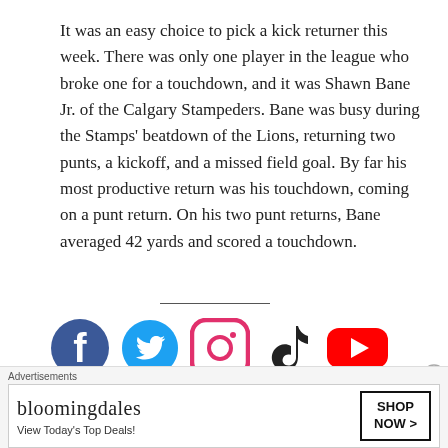It was an easy choice to pick a kick returner this week. There was only one player in the league who broke one for a touchdown, and it was Shawn Bane Jr. of the Calgary Stampeders. Bane was busy during the Stamps' beatdown of the Lions, returning two punts, a kickoff, and a missed field goal. By far his most productive return was his touchdown, coming on a punt return. On his two punt returns, Bane averaged 42 yards and scored a touchdown.
[Figure (illustration): Social media icons: Facebook, Twitter, Instagram, TikTok, YouTube]
[Figure (illustration): Advertisement: Bloomingdale's - View Today's Top Deals! SHOP NOW >]